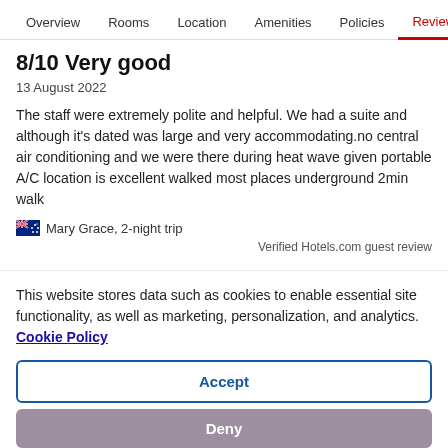Overview  Rooms  Location  Amenities  Policies  Reviews
8/10 Very good
13 August 2022
The staff were extremely polite and helpful. We had a suite and although it's dated was large and very accommodating.no central air conditioning and we were there during heat wave given portable A/C location is excellent walked most places underground 2min walk
Mary Grace, 2-night trip
Verified Hotels.com guest review
This website stores data such as cookies to enable essential site functionality, as well as marketing, personalization, and analytics. Cookie Policy
Accept
Deny